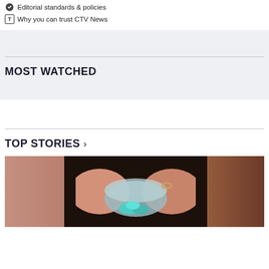Editorial standards & policies
Why you can trust CTV News
MOST WATCHED
TOP STORIES >
[Figure (photo): Close-up photo of a hand holding a small turquoise/blue pill or substance on what appears to be a surface, with dark background]